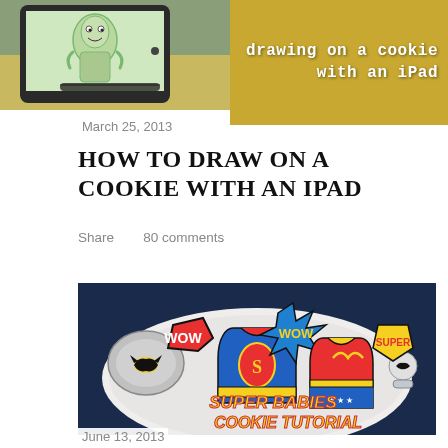[Figure (photo): Top banner: left side shows an iPad being used for drawing on a cookie (green/cartoon style drawing visible on screen), right side has golden-yellow background with white text 'drawing on a cookie with an iPad']
March 25, 2013
HOW TO DRAW ON A COOKIE WITH AN IPAD
Share   80 comments
[Figure (photo): Superhero-themed decorated cookies arranged on a white plate against dark blue background: Batman cookie, Superman onesie cookie, Wonder Woman onesie cookie, Batman pacifier cookie, WOW cookies, shield with SUPER text. Overlay text reads 'SUPER BABIES COOKIE TUTORIAL' in bold yellow and red comic-style font.]
June 13, 2013